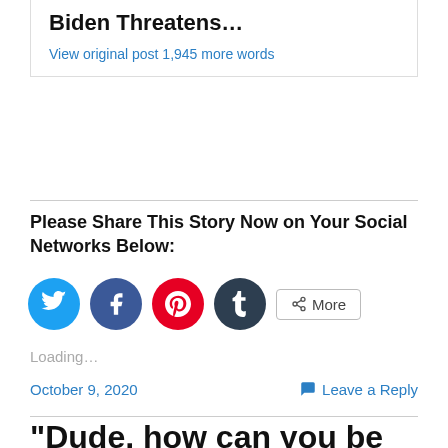Biden Threatens…
View original post 1,945 more words
Please Share This Story Now on Your Social Networks Below:
[Figure (other): Social sharing buttons: Twitter, Facebook, Pinterest, Tumblr, and More]
Loading...
October 9, 2020
Leave a Reply
“Dude, how can you be Jewish